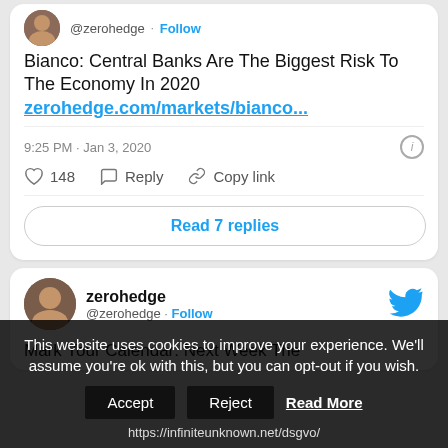@zerohedge · Follow
Bianco: Central Banks Are The Biggest Risk To The Economy In 2020 zerohedge.com/markets/bianco...
9:25 PM · Jan 3, 2020
148  Reply  Copy link
Read 7 replies
zerohedge @zerohedge · Follow
Mark Your Calendar: Next Week The
This website uses cookies to improve your experience. We'll assume you're ok with this, but you can opt-out if you wish.
Accept  Reject  Read More  https://infiniteunknown.net/dsgvo/